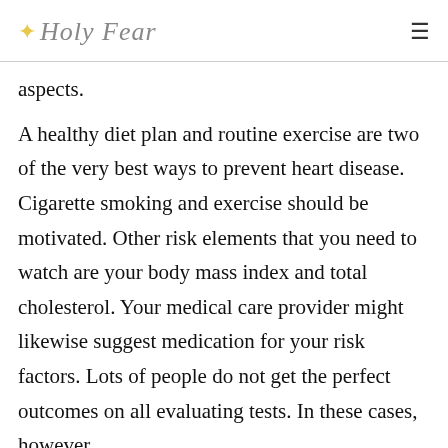✦ Holy Fear
aspects.
A healthy diet plan and routine exercise are two of the very best ways to prevent heart disease. Cigarette smoking and exercise should be motivated. Other risk elements that you need to watch are your body mass index and total cholesterol. Your medical care provider might likewise suggest medication for your risk factors. Lots of people do not get the perfect outcomes on all evaluating tests. In these cases, however,